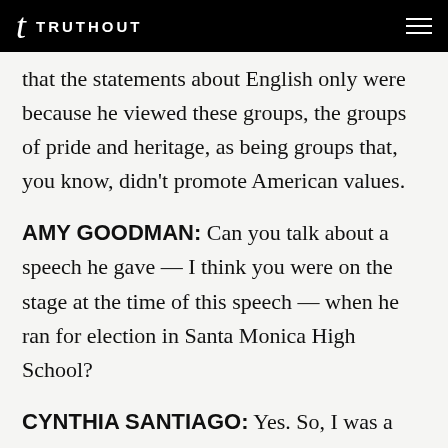TRUTHOUT
that the statements about English only were because he viewed these groups, the groups of pride and heritage, as being groups that, you know, didn't promote American values.
AMY GOODMAN: Can you talk about a speech he gave — I think you were on the stage at the time of this speech — when he ran for election in Santa Monica High School?
CYNTHIA SANTIAGO: Yes. So, I was a candidate for the student body president, and I was also on stage. And when he said the speech,